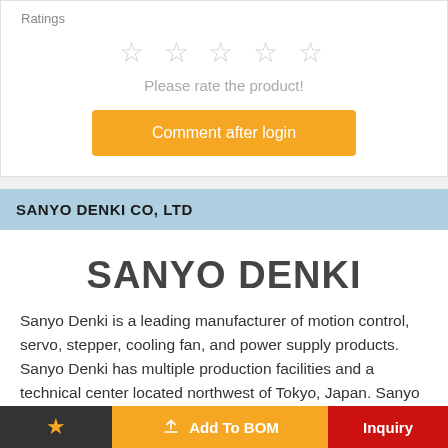Ratings
[Figure (other): 5 empty star rating icons in a row]
Please rate the product!
Comment after login
SANYO DENKI CO, LTD
[Figure (logo): SANYO DENKI logo text in large bold dark grey font]
Sanyo Denki is a leading manufacturer of motion control, servo, stepper, cooling fan, and power supply products. Sanyo Denki has multiple production facilities and a technical center located northwest of Tokyo, Japan. Sanyo Denki has ISO-9001 registered facilities and a reputation for robust product...
★   Add To BOM   Inquiry